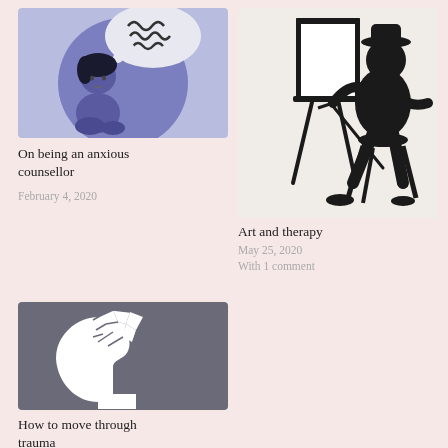[Figure (illustration): Illustration of an anxious woman sitting curled up with messy thought bubble above her head, purple background circle]
On being an anxious counsellor
February 4, 2020
[Figure (illustration): Black silhouette of a person sitting on a stool painting on a canvas easel]
Art and therapy
May 25, 2020
With 1 comment
[Figure (illustration): Dark grey silhouette of a person's head profile with white shattered/fragmented pieces inside the top of the head representing trauma]
How to move through trauma
June 25, 2020